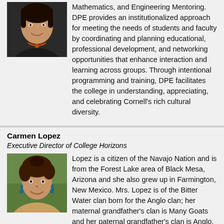[Figure (photo): Headshot of a woman smiling, wearing a necklace, dark top]
Mathematics, and Engineering Mentoring. DPE provides an institutionalized approach for meeting the needs of students and faculty by coordinating and planning educational, professional development, and networking opportunities that enhance interaction and learning across groups. Through intentional programming and training, DPE facilitates the college in understanding, appreciating, and celebrating Cornell's rich cultural diversity.
Carmen Lopez
Executive Director of College Horizons
[Figure (photo): Headshot of a woman with curly hair, smiling, wearing earrings]
Lopez is a citizen of the Navajo Nation and is from the Forest Lake area of Black Mesa, Arizona and she also grew up in Farmington, New Mexico. Mrs. Lopez is of the Bitter Water clan born for the Anglo clan; her maternal grandfather's clan is Many Goats and her paternal grandfather's clan is Anglo.
Lopez recently served for five years as the Executive Director of the Harvard University Native American Program (HUNAP) based in Cambridge, MA to help efforts to build, enhance...